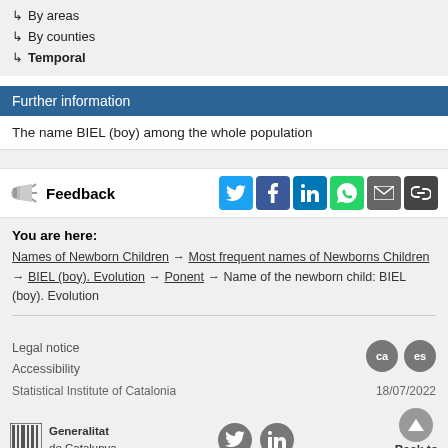↳ By areas
↳ By counties
↳ Temporal
Further information
The name BIEL (boy) among the whole population
Feedback
You are here:
Names of Newborn Children → Most frequent names of Newborns Children → BIEL (boy). Evolution → Ponent → Name of the newborn child: BIEL (boy). Evolution
Legal notice
Accessibility
Statistical Institute of Catalonia
18/07/2022
Generalitat de Catalunya
Back to top